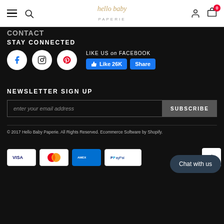hello baby PAPERIE — navigation bar with hamburger, search, logo, user, cart (0)
CONTACT
STAY CONNECTED
[Figure (infographic): Social media icons: Facebook, Instagram, Pinterest circles; Facebook Like 26K and Share buttons]
NEWSLETTER SIGN UP
enter your email address
SUBSCRIBE
© 2017 Hello Baby Paperie. All Rights Reserved. Ecommerce Software by Shopify.
[Figure (infographic): Payment method icons: Visa, Mastercard, American Express, PayPal]
Chat with us